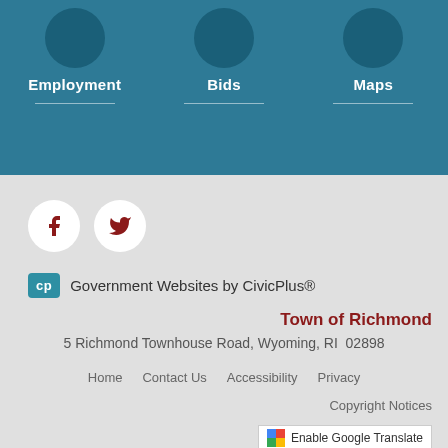Employment
Bids
Maps
[Figure (logo): Facebook and Twitter social media icon circles]
Government Websites by CivicPlus®
Town of Richmond
5 Richmond Townhouse Road, Wyoming, RI  02898
Home    Contact Us    Accessibility    Privacy
Copyright Notices
Enable Google Translate